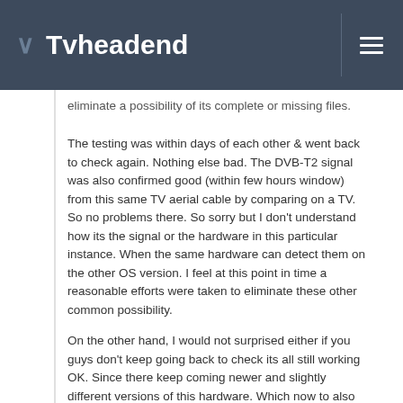Tvheadend
eliminate a possibility of its complete or missing files.
The testing was within days of each other & went back to check again. Nothing else bad. The DVB-T2 signal was also confirmed good (within few hours window) from this same TV aerial cable by comparing on a TV. So no problems there. So sorry but I don't understand how its the signal or the hardware in this particular instance. When the same hardware can detect them on the other OS version. I feel at this point in time a reasonable efforts were taken to eliminate these other common possibility.
On the other hand, I would not surprised either if you guys don't keep going back to check its all still working OK. Since there keep coming newer and slightly different versions of this hardware. Which now to also support.
But I did read this thread a lot also. Historically speaking. And also I went so far as to double-check what exact lines changes was in your patch and also check that all those same modified in all the '.c' files still exist in the upstream official linux kernel. Which they do. So its not like any other guys came along afterward